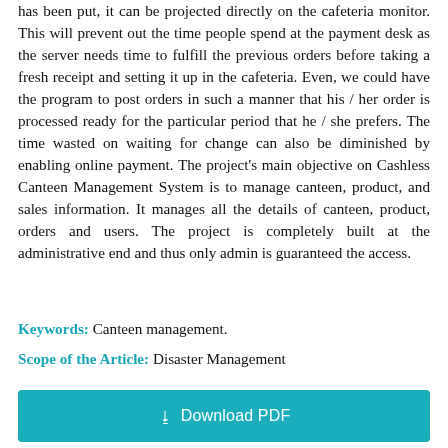has been put, it can be projected directly on the cafeteria monitor. This will prevent out the time people spend at the payment desk as the server needs time to fulfill the previous orders before taking a fresh receipt and setting it up in the cafeteria. Even, we could have the program to post orders in such a manner that his / her order is processed ready for the particular period that he / she prefers. The time wasted on waiting for change can also be diminished by enabling online payment. The project's main objective on Cashless Canteen Management System is to manage canteen, product, and sales information. It manages all the details of canteen, product, orders and users. The project is completely built at the administrative end and thus only admin is guaranteed the access.
Keywords: Canteen management.
Scope of the Article: Disaster Management
[Figure (other): Download PDF button — teal/cyan rectangular button with download icon and text 'Download PDF']